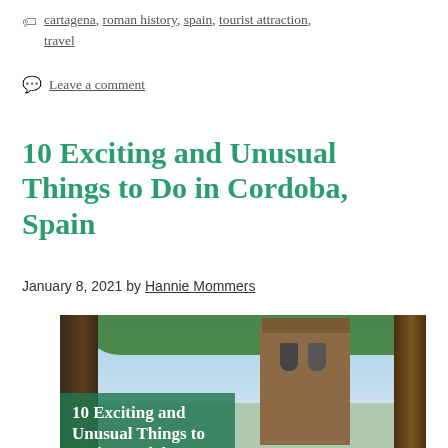cartagena, roman history, spain, tourist attraction, travel
Leave a comment
10 Exciting and Unusual Things to Do in Cordoba, Spain
January 8, 2021 by Hannie Mommers
[Figure (photo): Featured image for the blog post showing a stone bell tower of a church in Cordoba with palm trees and a green text overlay reading '10 Exciting and Unusual Things to Do in Cordoba,']